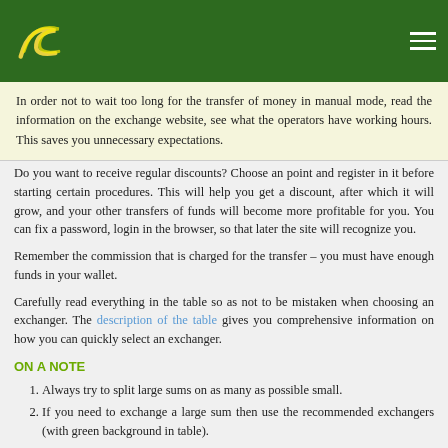[Logo and navigation header]
In order not to wait too long for the transfer of money in manual mode, read the information on the exchange website, see what the operators have working hours. This saves you unnecessary expectations.
Do you want to receive regular discounts? Choose an point and register in it before starting certain procedures. This will help you get a discount, after which it will grow, and your other transfers of funds will become more profitable for you. You can fix a password, login in the browser, so that later the site will recognize you.
Remember the commission that is charged for the transfer – you must have enough funds in your wallet.
Carefully read everything in the table so as not to be mistaken when choosing an exchanger. The description of the table gives you comprehensive information on how you can quickly select an exchanger.
ON A NOTE
Always try to split large sums on as many as possible small.
If you need to exchange a large sum then use the recommended exchangers (with green background in table).
If the exchange was not made on time then, it is recommended to write a claim.